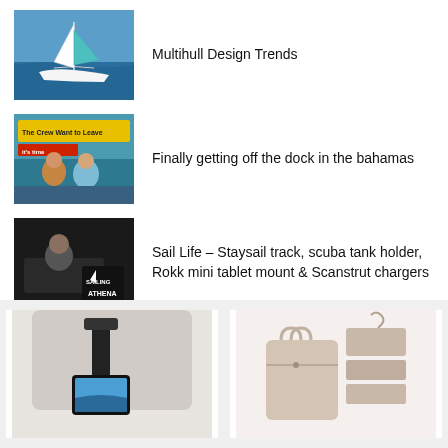Multihull Design Trends
Finally getting off the dock in the bahamas
Sail Life – Staysail track, scuba tank holder, Rokk mini tablet mount & Scanstrut chargers
[Figure (photo): Phone mount product on airplane seat back]
[Figure (photo): Pink travel toiletry bag set with hanging organizer]